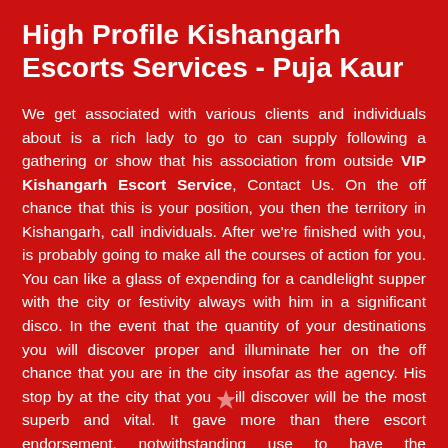High Profile Kishangarh Escorts Services - Puja Kaur
We get associated with various clients and individuals about is a rich lady to go to can supply following a gathering or show that his association from outside VIP Kishangarh Escort Service, Contact Us. On the off chance that this is your position, you then the territory in Kishangarh, call individuals. After we're finished with you, is probably going to make all the courses of action for you. You can like a glass of expending for a candlelight supper with the city or festivity always with him in a significant disco. In the event that the quantity of your destinations you will discover proper and illuminate her on the off chance that you are in the city insofar as the agency. His stop by at the city that you will discover will be the most superb and vital. It gave more than there escort endorsement, notwithstanding use to have the arrangement for facilitating business and others